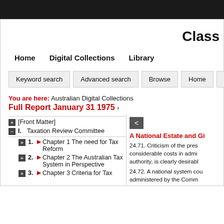Class
Home   Digital Collections   Library
Keyword search | Advanced search | Browse | Home | Contact
You are here: Australian Digital Collections Full Report January 31 1975 >
[Front Matter]
I. Taxation Review Committee
1. Chapter 1 The need for Tax Reform
2. Chapter 2 The Australian Tax System in Perspective
3. Chapter 3 Criteria for Tax
A National Estate and Gi
24.71. Criticism of the present considerable costs in adminis authority, is clearly desirable.
24.72. A national system could administered by the Common